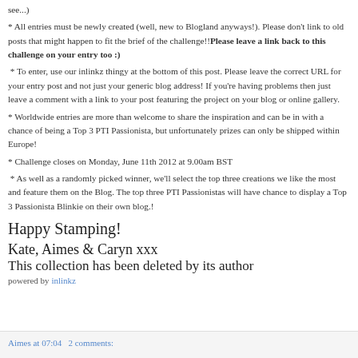see...)
* All entries must be newly created (well, new to Blogland anyways!). Please don't link to old posts that might happen to fit the brief of the challenge!!Please leave a link back to this challenge on your entry too :)
* To enter, use our inlinkz thingy at the bottom of this post. Please leave the correct URL for your entry post and not just your generic blog address! If you're having problems then just leave a comment with a link to your post featuring the project on your blog or online gallery.
* Worldwide entries are more than welcome to share the inspiration and can be in with a chance of being a Top 3 PTI Passionista, but unfortunately prizes can only be shipped within Europe!
* Challenge closes on Monday, June 11th 2012 at 9.00am BST
* As well as a randomly picked winner, we'll select the top three creations we like the most and feature them on the Blog. The top three PTI Passionistas will have chance to display a Top 3 Passionista Blinkie on their own blog.!
Happy Stamping!
Kate, Aimes & Caryn xxx
This collection has been deleted by its author
powered by inlinkz
Aimes at 07:04   2 comments: